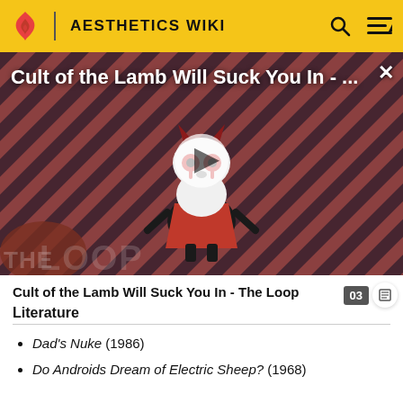AESTHETICS WIKI
[Figure (screenshot): Video thumbnail showing animated lamb character from 'Cult of the Lamb' game on a red and black diagonal striped background, with a play button overlay and 'THE LOOP' badge in bottom left. Title reads 'Cult of the Lamb Will Suck You In - ...' with an X close button in the top right.]
Cult of the Lamb Will Suck You In - The Loop
Literature
Dad's Nuke (1986)
Do Androids Dream of Electric Sheep? (1968)